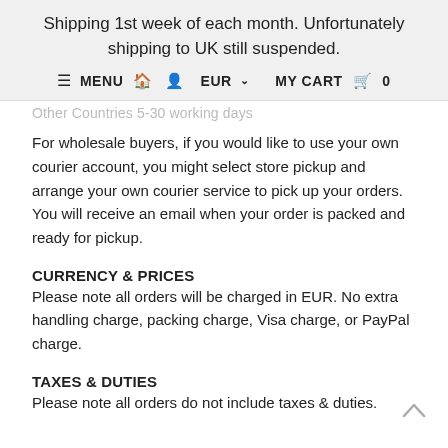Shipping 1st week of each month. Unfortunately shipping to UK still suspended.
≡ MENU  🏠  👤  EUR ∨   MY CART  🛒  0
Other Countries 5-30 working days
For wholesale buyers, if you would like to use your own courier account, you might select store pickup and arrange your own courier service to pick up your orders. You will receive an email when your order is packed and ready for pickup.
CURRENCY & PRICES
Please note all orders will be charged in EUR. No extra handling charge, packing charge, Visa charge, or PayPal charge.
TAXES & DUTIES
Please note all orders do not include taxes & duties.